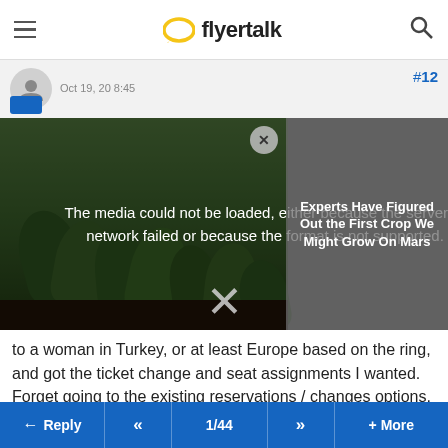flyertalk
#12
[Figure (screenshot): Media player error overlay on a plant image with text: The media could not be loaded, either because the server or network failed or because the format is not supported. An article card on the right shows 'Experts Have Figured Out the First Crop We Might Grow On Mars'.]
to a woman in Turkey, or at least Europe based on the ring, and got the ticket change and seat assignments I wanted. Forget going to the existing reservations / changes options, they'll fail you.
Reply
#13
Reply  «  1/44  »  + More